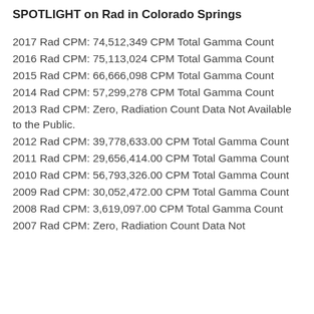SPOTLIGHT on Rad in Colorado Springs
2017 Rad CPM: 74,512,349 CPM Total Gamma Count
2016 Rad CPM: 75,113,024 CPM Total Gamma Count
2015 Rad CPM: 66,666,098 CPM Total Gamma Count
2014 Rad CPM: 57,299,278 CPM Total Gamma Count
2013 Rad CPM: Zero, Radiation Count Data Not Available to the Public.
2012 Rad CPM: 39,778,633.00 CPM Total Gamma Count
2011 Rad CPM: 29,656,414.00 CPM Total Gamma Count
2010 Rad CPM: 56,793,326.00 CPM Total Gamma Count
2009 Rad CPM: 30,052,472.00 CPM Total Gamma Count
2008 Rad CPM: 3,619,097.00 CPM Total Gamma Count
2007 Rad CPM: Zero, Radiation Count Data Not